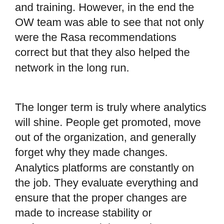and training. However, in the end the OW team was able to see that not only were the Rasa recommendations correct but that they also helped the network in the long run.
The longer term is truly where analytics will shine. People get promoted, move out of the organization, and generally forget why they made changes. Analytics platforms are constantly on the job. They evaluate everything and ensure that the proper changes are made to increase stability or performance. And they can be documented at the time of the change to ensure that the administrator that takes the job long after you are gone understands why a thing was done the way it was.
Analytics and statistics don't have to be boring. Instead of focusing on the minutia of the data, you